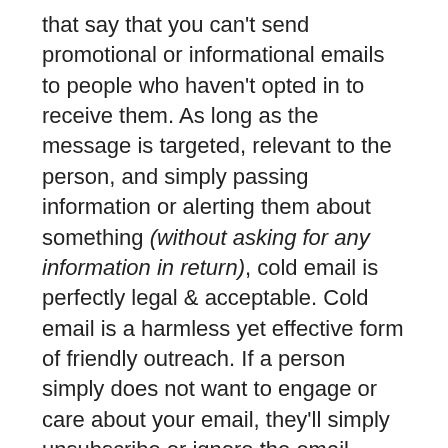that say that you can't send promotional or informational emails to people who haven't opted in to receive them. As long as the message is targeted, relevant to the person, and simply passing information or alerting them about something (without asking for any information in return), cold email is perfectly legal & acceptable. Cold email is a harmless yet effective form of friendly outreach. If a person simply does not want to engage or care about your email, they'll simply unsubscribe or ignore the email.
The first requirement of the CAN-SPAM Act is that recipients have an opt-out method for these messages. It's as easy as including an unsubscribe link, which we do on all our emails and, of course, urge people to as well. Alternatively, you may request that the recipient email you back for removal from your email list. Whatever the opt-out